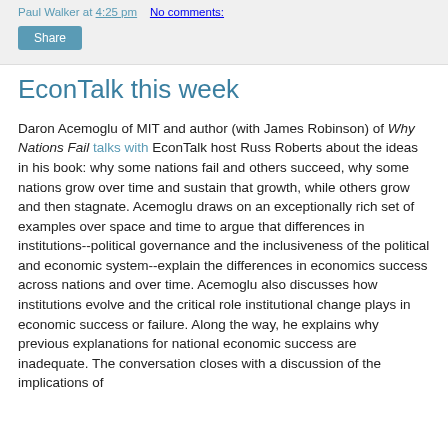Paul Walker at 4:25 pm   No comments:
Share
EconTalk this week
Daron Acemoglu of MIT and author (with James Robinson) of Why Nations Fail talks with EconTalk host Russ Roberts about the ideas in his book: why some nations fail and others succeed, why some nations grow over time and sustain that growth, while others grow and then stagnate. Acemoglu draws on an exceptionally rich set of examples over space and time to argue that differences in institutions--political governance and the inclusiveness of the political and economic system--explain the differences in economics success across nations and over time. Acemoglu also discusses how institutions evolve and the critical role institutional change plays in economic success or failure. Along the way, he explains why previous explanations for national economic success are inadequate. The conversation closes with a discussion of the implications of